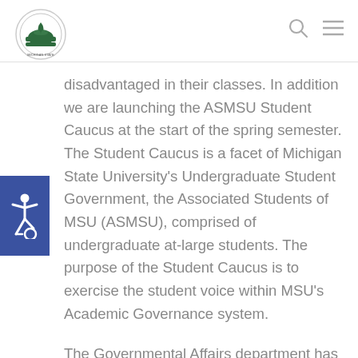ASMSU logo and navigation icons
[Figure (logo): ASMSU circular logo with green emblem and text, Michigan State University student government]
[Figure (infographic): Wheelchair accessibility icon on blue background]
disadvantaged in their classes. In addition we are launching the ASMSU Student Caucus at the start of the spring semester. The Student Caucus is a facet of Michigan State University's Undergraduate Student Government, the Associated Students of MSU (ASMSU), comprised of undergraduate at-large students. The purpose of the Student Caucus is to exercise the student voice within MSU's Academic Governance system.
The Governmental Affairs department has been spending the fall semester working hard to engage student voters